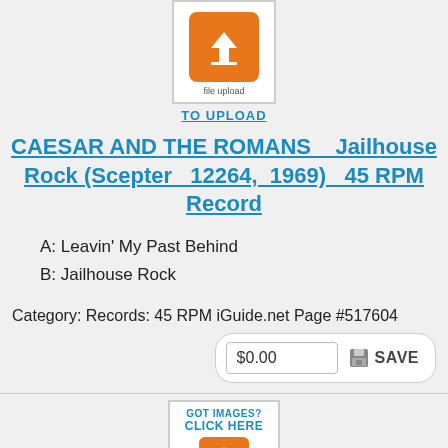[Figure (screenshot): File upload button with orange icon and 'TO UPLOAD' text in blue]
CAESAR AND THE ROMANS    Jailhouse Rock (Scepter  12264,  1969)  45 RPM Record
A: Leavin' My Past Behind
B: Jailhouse Rock
Category: Records: 45 RPM iGuide.net Page #517604
$0.00  SAVE
[Figure (screenshot): Got images? Click here button with orange file upload icon]